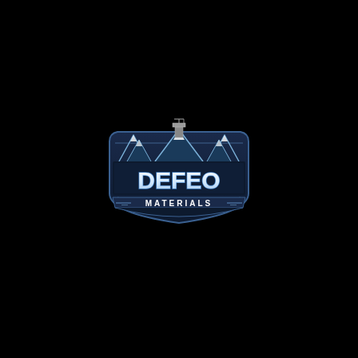[Figure (logo): DeFeo Materials company logo. A shield/badge shaped emblem with dark navy blue background. Mountain peaks with light blue/white coloring appear at the top, along with a small industrial structure (crane or mining equipment) silhouette. The word DEFEO is displayed in large bold white letters with blue outline in the center. Below it, a banner reads MATERIALS in smaller white capital letters with decorative dashes on each side.]